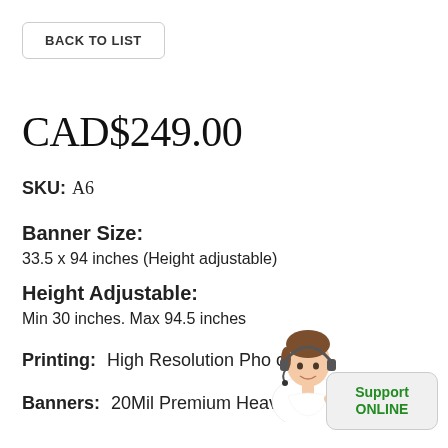BACK TO LIST
CAD$249.00
SKU: A6
Banner Size:
33.5 x 94 inches (Height adjustable)
Height Adjustable:
Min 30 inches. Max 94.5 inches
Printing: High Resolution Pho o
Banners: 20Mil Premium Heavy Duty vinyl
[Figure (illustration): Customer support agent illustration with headset, and a Support ONLINE button overlay]